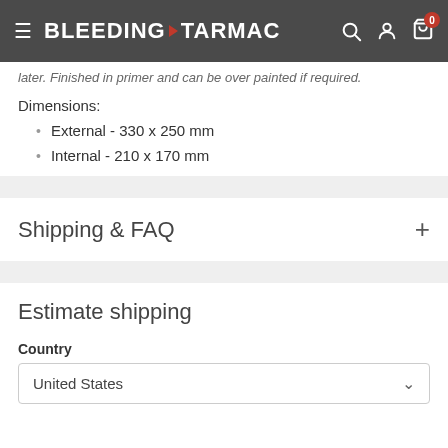BLEEDING TARMAC — navigation header with search, account, and cart icons
later. Finished in primer and can be over painted if required.
Dimensions:
External - 330 x 250 mm
Internal - 210 x 170 mm
Shipping & FAQ
Estimate shipping
Country
United States